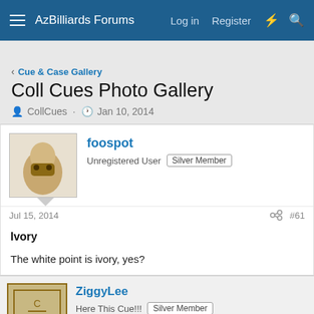AzBilliards Forums  Log in  Register
< Cue & Case Gallery
Coll Cues Photo Gallery
CollCues · Jan 10, 2014
foospot
Unregistered User  Silver Member
Jul 15, 2014  #61
Ivory
The white point is ivory, yes?
ZiggyLee
Here This Cue!!!  Silver Member